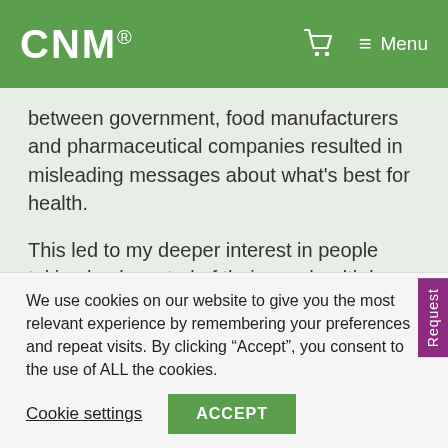CNM® Menu
between government, food manufacturers and pharmaceutical companies resulted in misleading messages about what's best for health.
This led to my deeper interest in people taking back control of their own health by harnessing the body's natural capacity for wellness and healing. I would like to inspire as many people as possible to give themselves the chance to feel and look their best
We use cookies on our website to give you the most relevant experience by remembering your preferences and repeat visits. By clicking “Accept”, you consent to the use of ALL the cookies.
Cookie settings   ACCEPT